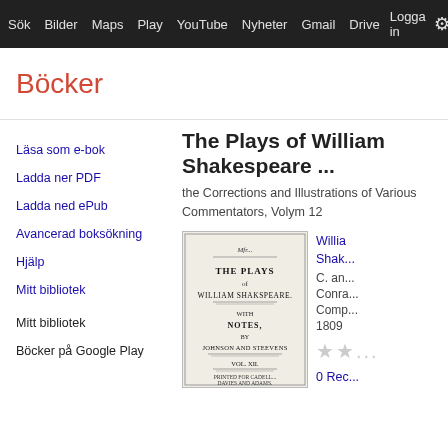Sök Bilder Maps Play YouTube Nyheter Gmail Drive Logga in ⚙
Böcker
Läsa som e-bok
Ladda ner PDF
Ladda ned ePub
Avancerad boksökning
Hjälp
Mitt bibliotek
Mitt bibliotek
Böcker på Google Play
The Plays of William Shakespeare ...
the Corrections and Illustrations of Various Commentators, Volym 12
[Figure (photo): Book cover image showing title page of 'The Plays of William Shakspeare' with notes by Johnson and Steevens, Vol. XII]
William Shake...
C. an... Conra... Comp... 1809
★★...
0 Rec...